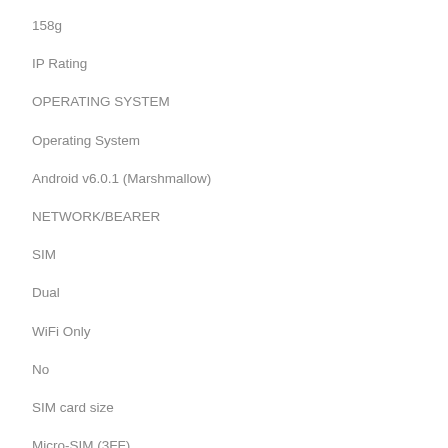158g
IP Rating
OPERATING SYSTEM
Operating System
Android v6.0.1 (Marshmallow)
NETWORK/BEARER
SIM
Dual
WiFi Only
No
SIM card size
Micro-SIM (3FF)
Network